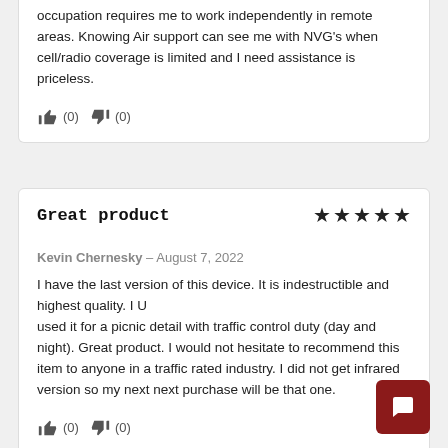occupation requires me to work independently in remote areas. Knowing Air support can see me with NVG's when cell/radio coverage is limited and I need assistance is priceless.
[Figure (other): Thumbs up icon with count (0) and thumbs down icon with count (0)]
Great product
[Figure (other): Five star rating (5 out of 5 stars)]
Kevin Chernesky – August 7, 2022
I have the last version of this device. It is indestructible and highest quality. I U used it for a picnic detail with traffic control duty (day and night). Great product. I would not hesitate to recommend this item to anyone in a traffic rated industry. I did not get infrared version so my next next purchase will be that one.
[Figure (other): Thumbs up icon with count (0) and thumbs down icon with count (0)]